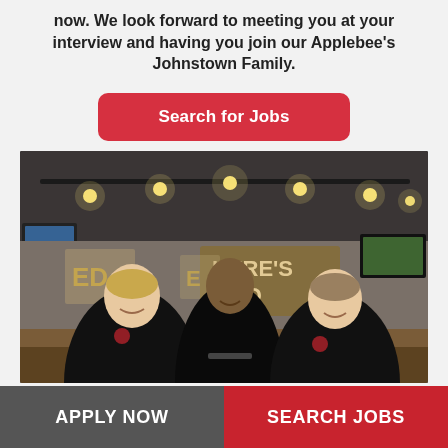now. We look forward to meeting you at your interview and having you join our Applebee's Johnstown Family.
Search for Jobs
[Figure (photo): Three Applebee's restaurant employees in black uniforms laughing and talking together inside an Applebee's restaurant with track lighting overhead and bar seating visible in the background.]
APPLY NOW
SEARCH JOBS